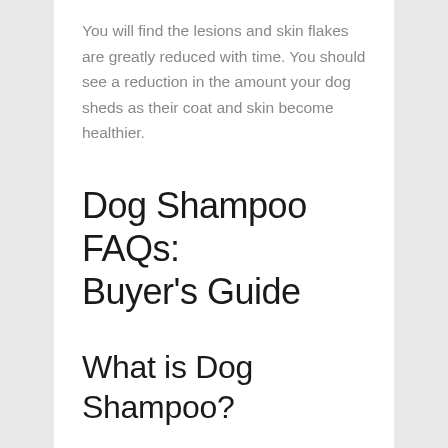You will find the lesions and skin flakes are greatly reduced with time. You should see a reduction in the amount your dog sheds as their coat and skin become healthier.
Dog Shampoo FAQs: Buyer's Guide
What is Dog Shampoo?
Dog shampoo is formulated just for